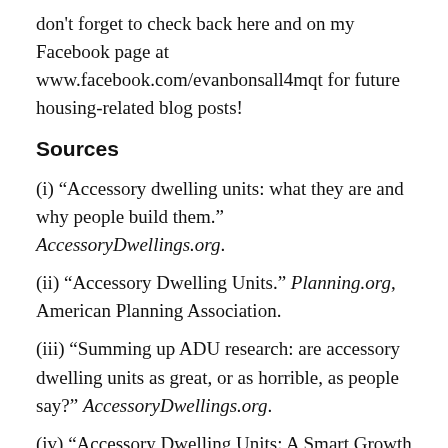don't forget to check back here and on my Facebook page at www.facebook.com/evanbonsall4mqt for future housing-related blog posts!
Sources
(i) “Accessory dwelling units: what they are and why people build them.” AccessoryDwellings.org.
(ii) “Accessory Dwelling Units.” Planning.org, American Planning Association.
(iii) “Summing up ADU research: are accessory dwelling units as great, or as horrible, as people say?” AccessoryDwellings.org.
(iv) “Accessory Dwelling Units: A Smart Growth Tool for Providing Affordable Housing.” Ross, Jamie. Housing News Network, vol. 32, no. 2, August 2016.